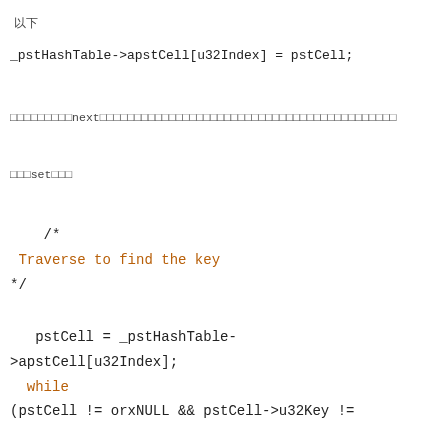以下
_pstHashTable->apstCell[u32Index] = pstCell;
セルのnextポインタを使って、リンクリストの末尾にセルを追加します。
次にsetします。
/*
 Traverse to find the key
*/
pstCell = _pstHashTable->apstCell[u32Index];
  while
(pstCell != orxNULL && pstCell->u32Key !=